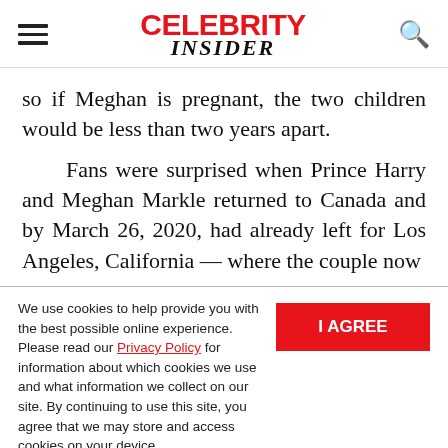CELEBRITY INSIDER
so if Meghan is pregnant, the two children would be less than two years apart.

Fans were surprised when Prince Harry and Meghan Markle returned to Canada and by March 26, 2020, had already left for Los Angeles, California — where the couple now
We use cookies to help provide you with the best possible online experience. Please read our Privacy Policy for information about which cookies we use and what information we collect on our site. By continuing to use this site, you agree that we may store and access cookies on your device.